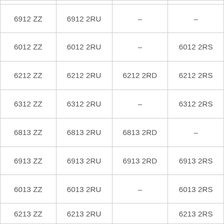| 6912 ZZ | 6912 2RU | – | – |
| 6012 ZZ | 6012 2RU | – | 6012 2RS |
| 6212 ZZ | 6212 2RU | 6212 2RD | 6212 2RS |
| 6312 ZZ | 6312 2RU | – | 6312 2RS |
| 6813 ZZ | 6813 2RU | 6813 2RD | – |
| 6913 ZZ | 6913 2RU | 6913 2RD | 6913 2RS |
| 6013 ZZ | 6013 2RU | – | 6013 2RS |
| 6213 ZZ | 6213 2RU | – | 6213 2RS |